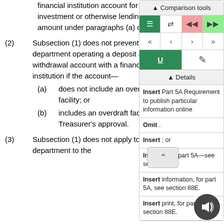financial institution account for making an investment or otherwise lending an amount under paragraphs (a) or (b).
(2) Subsection (1) does not prevent a department operating a deposit and withdrawal account with a financial institution if the account—
(a) does not include an overdraft facility; or
(b) includes an overdraft facility under a Treasurer's approval.
(3) Subsection (1) does not apply to a department to the
[Figure (screenshot): Comparison tools panel with navigation icons, details section with Insert/Omit annotations]
Insert Part 5A Requirement to publish particular information online
Omit .
Insert ; or
Insert (c)for part 5A—see section 88E.
Insert information, for part 5A, see section 88E.
Insert print, for part 5A see section 88E.